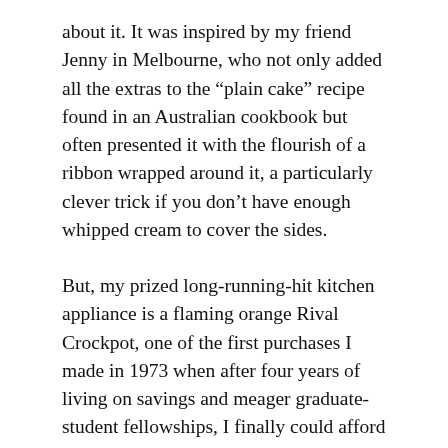about it. It was inspired by my friend Jenny in Melbourne, who not only added all the extras to the “plain cake” recipe found in an Australian cookbook but often presented it with the flourish of a ribbon wrapped around it, a particularly clever trick if you don’t have enough whipped cream to cover the sides.
But, my prized long-running-hit kitchen appliance is a flaming orange Rival Crockpot, one of the first purchases I made in 1973 when after four years of living on savings and meager graduate-student fellowships, I finally could afford to buy some extras. I had a real job, teaching at the College of Ganado on the Navajo Indian Reservation in Arizona, and